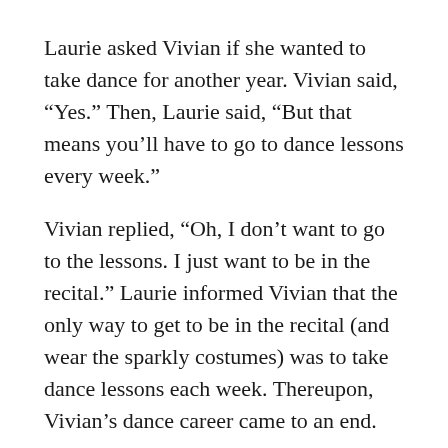Laurie asked Vivian if she wanted to take dance for another year. Vivian said, “Yes.” Then, Laurie said, “But that means you’ll have to go to dance lessons every week.”
Vivian replied, “Oh, I don’t want to go to the lessons. I just want to be in the recital.” Laurie informed Vivian that the only way to get to be in the recital (and wear the sparkly costumes) was to take dance lessons each week. Thereupon, Vivian’s dance career came to an end.
The Disciples Face a New Challenge
All of us have had those moments where we